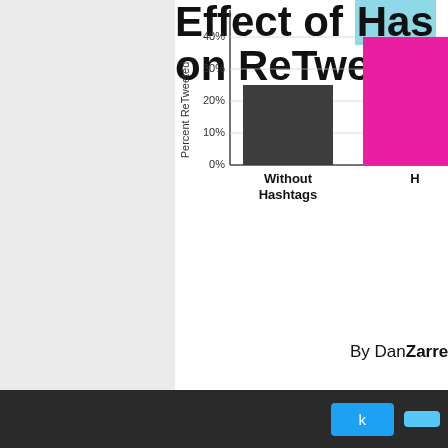Effect of Hashtags on ReTweets
[Figure (bar-chart): Effect of Hashtags on ReTweets]
By DanZarrella
k